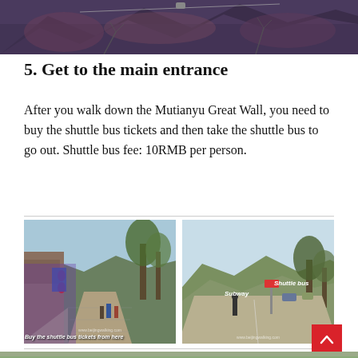[Figure (photo): Top partial photo of Mutianyu Great Wall area, showing forested mountains and a cable car line, viewed from below]
5. Get to the main entrance
After you walk down the Mutianyu Great Wall, you need to buy the shuttle bus tickets and then take the shuttle bus to go out. Shuttle bus fee: 10RMB per person.
[Figure (photo): Left photo: stone-paved walkway with traditional buildings on left and trees, visitors walking; caption reads 'Buy the shuttle bus tickets from here']
[Figure (photo): Right photo: open parking/road area with mountains in background, person standing; labeled 'Subway' and 'Shuttle bus', watermark www.beijingwalking.com]
[Figure (photo): Bottom partial strip of another outdoor photo, mostly cut off]